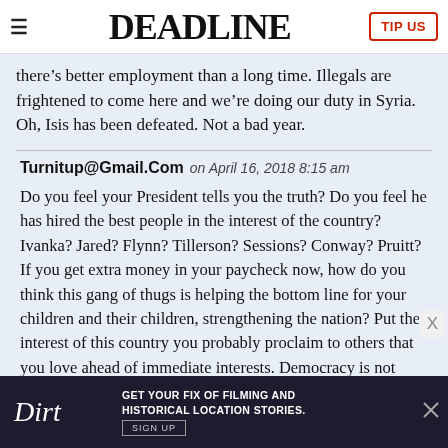DEADLINE
there’s better employment than a long time. Illegals are frightened to come here and we’re doing our duty in Syria. Oh, Isis has been defeated. Not a bad year.
Turnitup@Gmail.Com on April 16, 2018 8:15 am
Do you feel your President tells you the truth? Do you feel he has hired the best people in the interest of the country? Ivanka? Jared? Flynn? Tillerson? Sessions? Conway? Pruitt? If you get extra money in your paycheck now, how do you think this gang of thugs is helping the bottom line for your children and their children, strengthening the nation? Put the interest of this country you probably proclaim to others that you love ahead of immediate interests. Democracy is not
[Figure (advertisement): Dirt advertisement: GET YOUR FIX OF FILMING AND HISTORICAL LOCATION STORIES. SIGN UP]